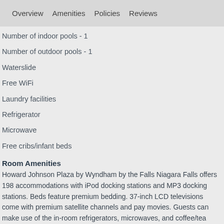Overview   Amenities   Policies   Reviews
Number of indoor pools - 1
Number of outdoor pools - 1
Waterslide
Free WiFi
Laundry facilities
Refrigerator
Microwave
Free cribs/infant beds
Room Amenities
Howard Johnson Plaza by Wyndham by the Falls Niagara Falls offers 198 accommodations with iPod docking stations and MP3 docking stations. Beds feature premium bedding. 37-inch LCD televisions come with premium satellite channels and pay movies. Guests can make use of the in-room refrigerators, microwaves, and coffee/tea makers. Bathrooms include complimentary toiletries and hair dryers. Guests can surf the web using the complimentary wireless Internet access. Business-friendly amenities include desks and laptop-compatible safes, as well as phones; free local calls are provided (restrictions may apply). Additionally, rooms